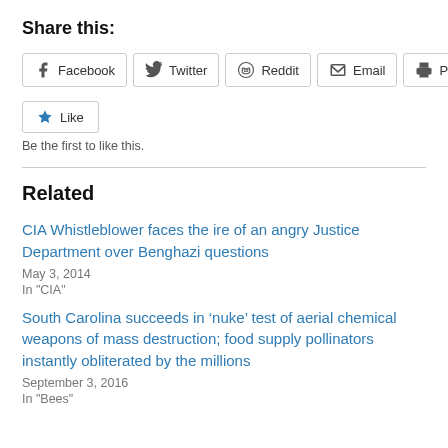Share this:
[Figure (screenshot): Row of share buttons: Facebook, Twitter, Reddit, Email, Print]
[Figure (screenshot): Like button with star icon]
Be the first to like this.
Related
CIA Whistleblower faces the ire of an angry Justice Department over Benghazi questions
May 3, 2014
In "CIA"
South Carolina succeeds in ‘nuke’ test of aerial chemical weapons of mass destruction; food supply pollinators instantly obliterated by the millions
September 3, 2016
In "Bees"